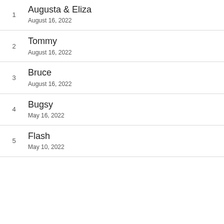1
Augusta & Eliza
August 16, 2022
2
Tommy
August 16, 2022
3
Bruce
August 16, 2022
4
Bugsy
May 16, 2022
5
Flash
May 10, 2022